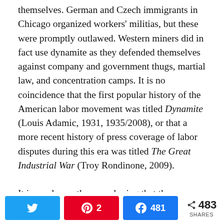themselves. German and Czech immigrants in Chicago organized workers' militias, but these were promptly outlawed. Western miners did in fact use dynamite as they defended themselves against company and government thugs, martial law, and concentration camps. It is no coincidence that the first popular history of the American labor movement was titled Dynamite (Louis Adamic, 1931, 1935/2008), or that a more recent history of press coverage of labor disputes during this era was titled The Great Industrial War (Troy Rondinone, 2009).
It is surely worth remembering that the Haymarket rally was called in response to the police murder of workers picketing the McCormick Reaper Works, and that there was no violence at the rally until police attacked it. Who threw the bomb (which almost certainly killed fewer people